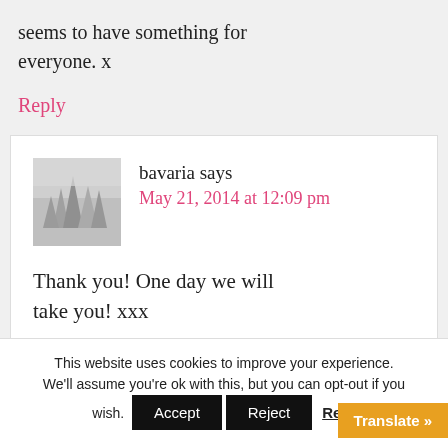seems to have something for everyone. x
Reply
bavaria says
May 21, 2014 at 12:09 pm
[Figure (photo): Avatar image of snowy forest trees in greyscale]
Thank you! One day we will take you! xxx
This website uses cookies to improve your experience. We'll assume you're ok with this, but you can opt-out if you wish.
Accept  Reject  Rea  Translate »